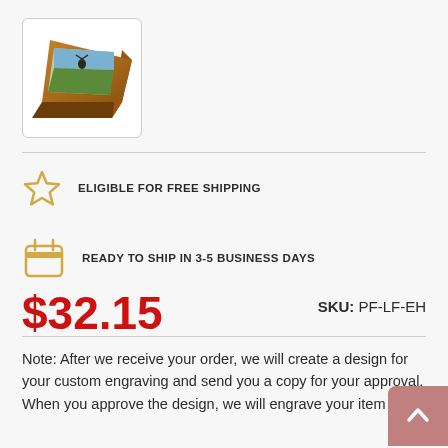[Figure (photo): Wooden picture frame product thumbnail shown at an angle, with a nature scene inside]
ELIGIBLE FOR FREE SHIPPING
READY TO SHIP IN 3-5 BUSINESS DAYS
$32.15
SKU: PF-LF-EH
Note: After we receive your order, we will create a design for your custom engraving and send you a copy for your approval. When you approve the design, we will engrave your item and